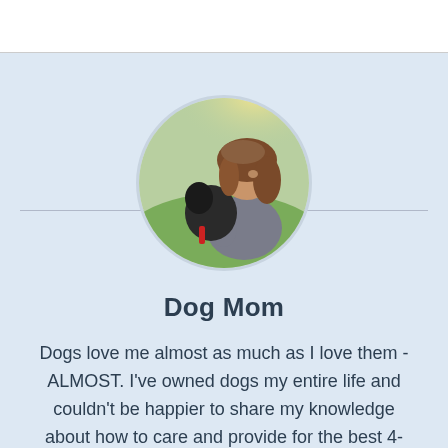[Figure (photo): Circular profile photo of a young woman sitting outdoors on grass, hugging a dog, with sunlight in the background]
Dog Mom
Dogs love me almost as much as I love them - ALMOST. I've owned dogs my entire life and couldn't be happier to share my knowledge about how to care and provide for the best 4-legged animals on the planet ;). I'm the proud